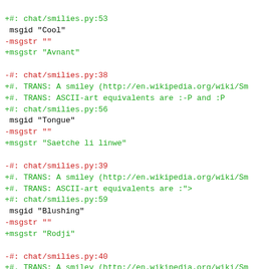code diff showing gettext translation entries for chat/smilies.py
+#: chat/smilies.py:53
 msgid "Cool"
-msgstr ""
+msgstr "Avnant"

-#: chat/smilies.py:38
+#. TRANS: A smiley (http://en.wikipedia.org/wiki/Sm
+#. TRANS: ASCII-art equivalents are :-P and :P
+#: chat/smilies.py:56
 msgid "Tongue"
-msgstr ""
+msgstr "Saetche li linwe"

-#: chat/smilies.py:39
+#. TRANS: A smiley (http://en.wikipedia.org/wiki/Sm
+#. TRANS: ASCII-art equivalents are :">
+#: chat/smilies.py:59
 msgid "Blushing"
-msgstr ""
+msgstr "Rodji"

-#: chat/smilies.py:40
+#. TRANS: A smiley (http://en.wikipedia.org/wiki/Sm
+#. TRANS: ASCII-art equivalents are :'-(  and :'(
+#: chat/smilies.py:62
 msgid "Weeping"
-msgstr ""
+msgstr "Låmes"

-#: chat/smilies.py:41